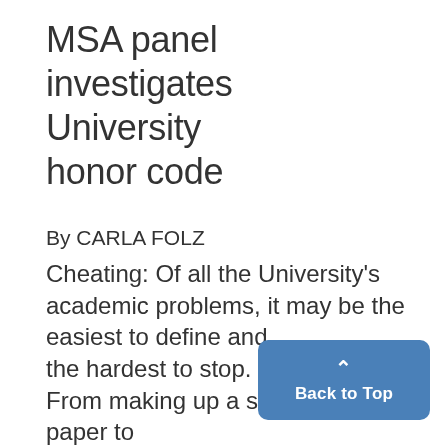MSA panel investigates University honor code
By CARLA FOLZ
Cheating: Of all the University's academic problems, it may be the easiest to define and the hardest to stop. From making up a source on a term paper to "borrowing" an answer from yo... during a test, cheating takes on many varied